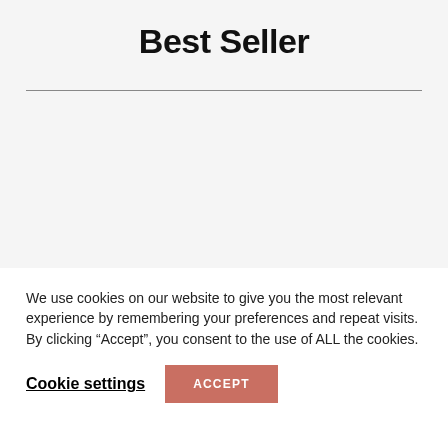Best Seller
We use cookies on our website to give you the most relevant experience by remembering your preferences and repeat visits. By clicking “Accept”, you consent to the use of ALL the cookies.
Cookie settings
ACCEPT